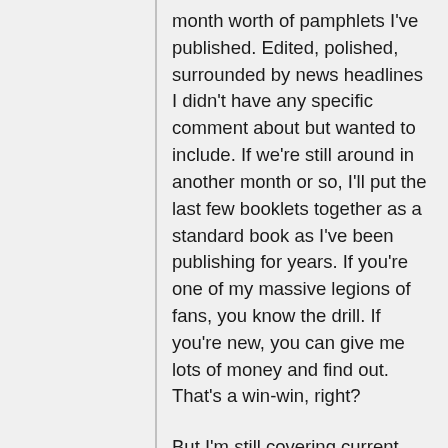month worth of pamphlets I've published. Edited, polished, surrounded by news headlines I didn't have any specific comment about but wanted to include. If we're still around in another month or so, I'll put the last few booklets together as a standard book as I've been publishing for years. If you're one of my massive legions of fans, you know the drill. If you're new, you can give me lots of money and find out. That's a win-win, right?
But I'm still covering current events and analyzing whatever I can, I'll continue doing that for as long as possible. I know I keep saying that we don't have much time left but the world keeps getting worse and I only need to